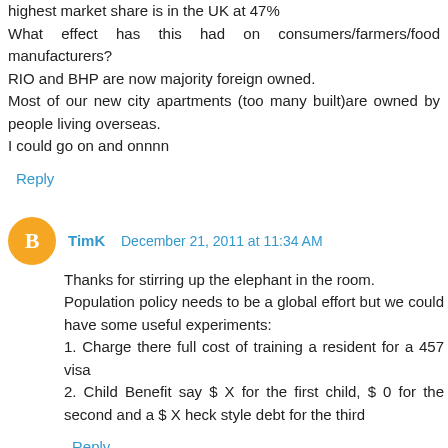highest market share is in the UK at 47%
What effect has this had on consumers/farmers/food manufacturers?
RIO and BHP are now majority foreign owned.
Most of our new city apartments (too many built)are owned by people living overseas.
I could go on and onnnn
Reply
TimK  December 21, 2011 at 11:34 AM
Thanks for stirring up the elephant in the room.
Population policy needs to be a global effort but we could have some useful experiments:
1. Charge there full cost of training a resident for a 457 visa
2. Child Benefit say $ X for the first child, $ 0 for the second and a $ X heck style debt for the third
Reply
Pauk  December 21, 2011 at 12:14 PM